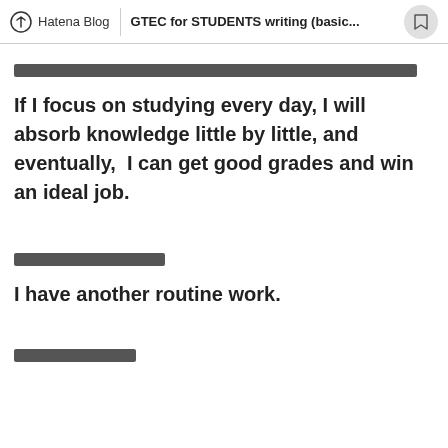Hatena Blog | GTEC for STUDENTS writing (basic...
[redacted Japanese text line]
If I focus on studying every day, I will absorb knowledge little by little, and eventually,  I can get good grades and win an ideal job.
[redacted Japanese text line]
I have another routine work.
[redacted Japanese text line]